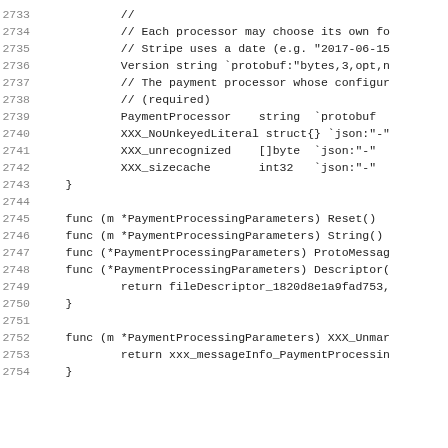Code listing lines 2733-2754, Go source code for PaymentProcessingParameters
2733    //
2734    // Each processor may choose its own fo
2735    // Stripe uses a date (e.g. "2017-06-15
2736    Version string `protobuf:"bytes,3,opt,n
2737    // The payment processor whose configur
2738    // (required)
2739    PaymentProcessor    string  `protobuf
2740    XXX_NoUnkeyedLiteral struct{} `json:"-"
2741    XXX_unrecognized    []byte  `json:"-"
2742    XXX_sizecache       int32   `json:"-"
2743 }
2744
2745 func (m *PaymentProcessingParameters) Reset()
2746 func (m *PaymentProcessingParameters) String()
2747 func (*PaymentProcessingParameters) ProtoMessag
2748 func (*PaymentProcessingParameters) Descriptor(
2749        return fileDescriptor_1820d8e1a9fad753,
2750 }
2751
2752 func (m *PaymentProcessingParameters) XXX_Unmar
2753        return xxx_messageInfo_PaymentProcessin
2754 }